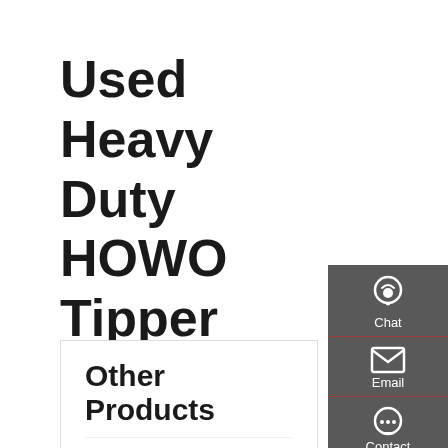Used Heavy Duty HOWO Tipper Truck
Other Products
6x4-Dump-Truck
8x4-Dump-Truck
Second-Hand-6x4-Dump-Truck